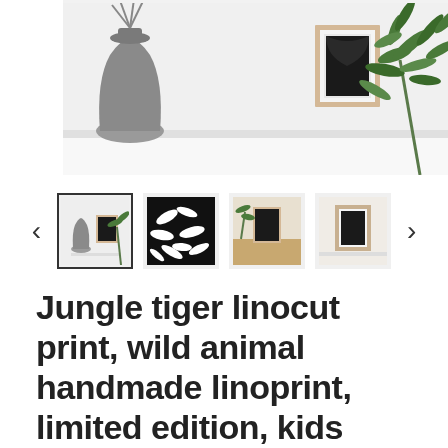[Figure (photo): Product lifestyle photo showing a framed jungle tiger linocut print on a white shelf surface, with a gray ceramic vase containing dried stems on the left and green leafy plant branches on the right]
[Figure (photo): Thumbnail carousel showing 4 product photos with left and right navigation arrows. First thumbnail (selected with border): framed print in room setting. Second: close-up of black botanical linocut pattern. Third: framed print on wooden surface with plant. Fourth: framed print close-up on shelf.]
Jungle tiger linocut print, wild animal handmade linoprint, limited edition, kids room wall art, tropical wall decor, big cat block